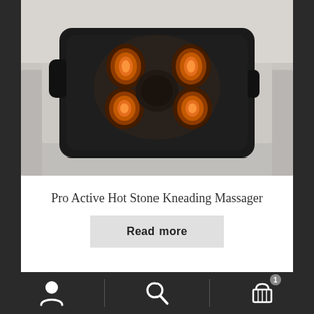[Figure (photo): A black shiatsu back massager with glowing orange/red massage nodes on a light grey sofa. The massager is rectangular and dark with a handle.]
Pro Active Hot Stone Kneading Massager
Read more
Navigation bar with user/account icon, search icon, and shopping cart icon with badge showing 1 item